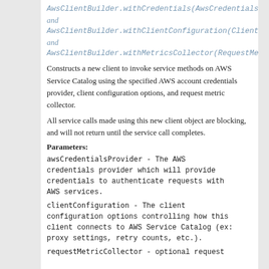AwsClientBuilder.withCredentials(AwsCredentialsPr
and
AwsClientBuilder.withClientConfiguration(ClientCo
and
AwsClientBuilder.withMetricsCollector(RequestMetr
Constructs a new client to invoke service methods on AWS Service Catalog using the specified AWS account credentials provider, client configuration options, and request metric collector.
All service calls made using this new client object are blocking, and will not return until the service call completes.
Parameters:
awsCredentialsProvider - The AWS credentials provider which will provide credentials to authenticate requests with AWS services.
clientConfiguration - The client configuration options controlling how this client connects to AWS Service Catalog (ex: proxy settings, retry counts, etc.).
requestMetricCollector - optional request